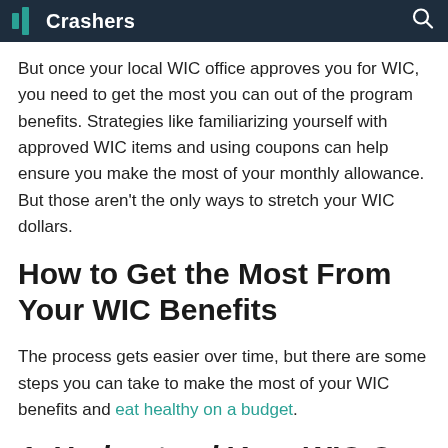Crashers
But once your local WIC office approves you for WIC, you need to get the most you can out of the program benefits. Strategies like familiarizing yourself with approved WIC items and using coupons can help ensure you make the most of your monthly allowance. But those aren't the only ways to stretch your WIC dollars.
How to Get the Most From Your WIC Benefits
The process gets easier over time, but there are some steps you can take to make the most of your WIC benefits and eat healthy on a budget.
1. Understand Your WIC Card...